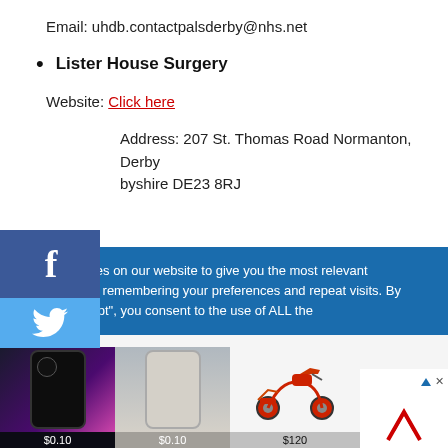Email: uhdb.contactpalsderby@nhs.net
Lister House Surgery
Website: Click here
Address: 207 St. Thomas Road Normanton, Derbyshire DE23 8RJ
We use cookies on our website to give you the most relevant experience by remembering your preferences and repeat visits. By clicking "Accept", you consent to the use of ALL the
[Figure (screenshot): Advertisement banner showing smartphones priced at $0.10 and a scooter priced at $120, with a brand logo]